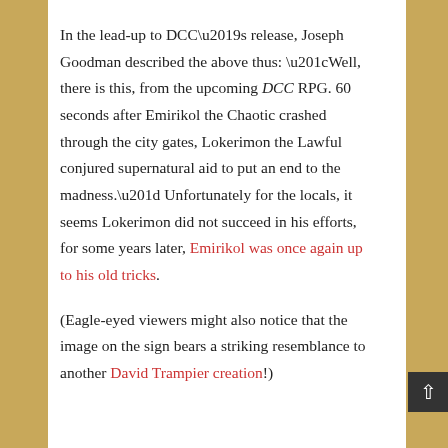In the lead-up to DCC's release, Joseph Goodman described the above thus: “Well, there is this, from the upcoming DCC RPG. 60 seconds after Emirikol the Chaotic crashed through the city gates, Lokerimon the Lawful conjured supernatural aid to put an end to the madness.” Unfortunately for the locals, it seems Lokerimon did not succeed in his efforts, for some years later, Emirikol was once again up to his old tricks.
(Eagle-eyed viewers might also notice that the image on the sign bears a striking resemblance to another David Trampier creation!)